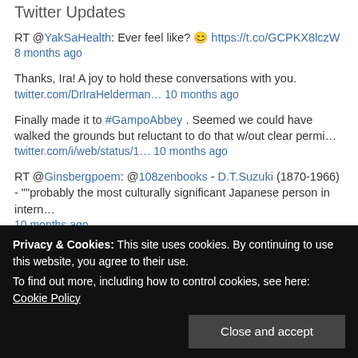Twitter Updates
RT @YakSaHealth: Ever feel like? 😊 https://t.co/GCPKX8lczW
8 months ago
Thanks, Ira! A joy to hold these conversations with you.
twitter.com/DrIraHelderman… 10 months ago
Finally made it to #GampoAbbey . Seemed we could have walked the grounds but reluctant to do that w/out clear permi…
twitter.com/i/web/status/1… 10 months ago
RT @Ginsbergpoem: @108zenbooks - D.T.Suzuki (1870-1966) - ""probably the most culturally significant Japanese person in intern…
10 months ago
RT @...
Privacy & Cookies: This site uses cookies. By continuing to use this website, you agree to their use.
To find out more, including how to control cookies, see here: Cookie Policy
Close and accept